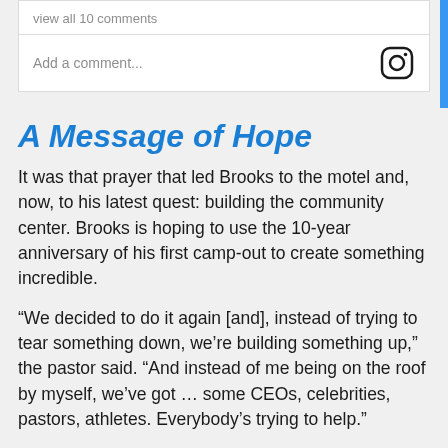view all 10 comments
Add a comment...
A Message of Hope
It was that prayer that led Brooks to the motel and, now, to his latest quest: building the community center. Brooks is hoping to use the 10-year anniversary of his first camp-out to create something incredible.
“We decided to do it again [and], instead of trying to tear something down, we’re building something up,” the pastor said. “And instead of me being on the roof by myself, we’ve got … some CEOs, celebrities, pastors, athletes. Everybody’s trying to help.”
Brooks concluded his conversation with Faithwire by